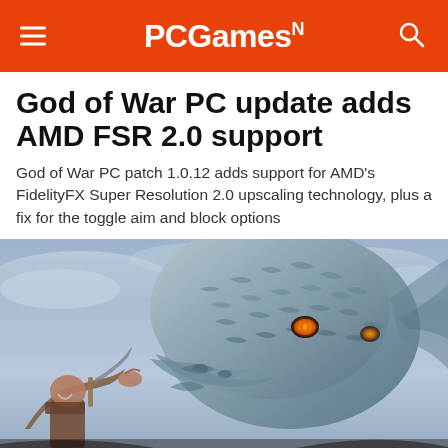PCGamesN
God of War PC update adds AMD FSR 2.0 support
God of War PC patch 1.0.12 adds support for AMD's FidelityFX Super Resolution 2.0 upscaling technology, plus a fix for the toggle aim and block options
[Figure (photo): God of War game screenshot showing Kratos facing a large stone dragon creature with glowing orange eyes against a cloudy sky background]